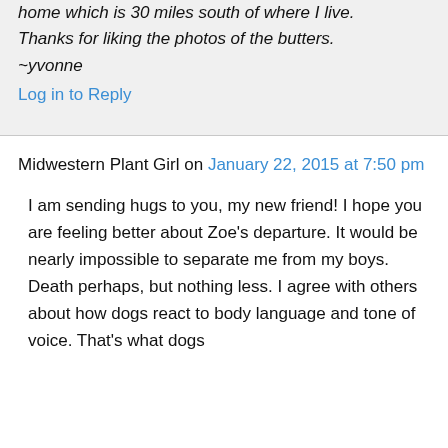home which is 30 miles south of where I live.
Thanks for liking the photos of the butters. ~yvonne
Log in to Reply
Midwestern Plant Girl on January 22, 2015 at 7:50 pm
I am sending hugs to you, my new friend! I hope you are feeling better about Zoe's departure. It would be nearly impossible to separate me from my boys. Death perhaps, but nothing less. I agree with others about how dogs react to body language and tone of voice. That's what dogs